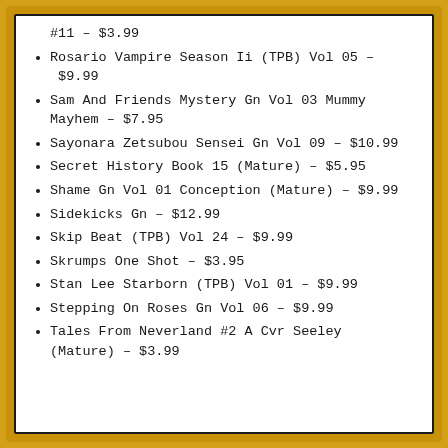#11 – $3.99
Rosario Vampire Season Ii (TPB) Vol 05 – $9.99
Sam And Friends Mystery Gn Vol 03 Mummy Mayhem – $7.95
Sayonara Zetsubou Sensei Gn Vol 09 – $10.99
Secret History Book 15 (Mature) – $5.95
Shame Gn Vol 01 Conception (Mature) – $9.99
Sidekicks Gn – $12.99
Skip Beat (TPB) Vol 24 – $9.99
Skrumps One Shot – $3.95
Stan Lee Starborn (TPB) Vol 01 – $9.99
Stepping On Roses Gn Vol 06 – $9.99
Tales From Neverland #2 A Cvr Seeley (Mature) – $3.99